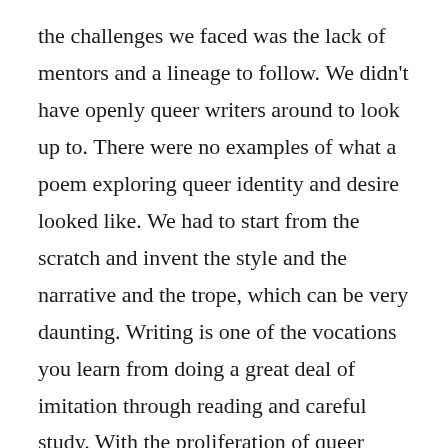the challenges we faced was the lack of mentors and a lineage to follow. We didn't have openly queer writers around to look up to. There were no examples of what a poem exploring queer identity and desire looked like. We had to start from the scratch and invent the style and the narrative and the trope, which can be very daunting. Writing is one of the vocations you learn from doing a great deal of imitation through reading and careful study. With the proliferation of queer narratives now, I believe the next generation of writers exploring queer identity will definitely find it less cumbersome, because they'd be working within a tradition that has already been established.